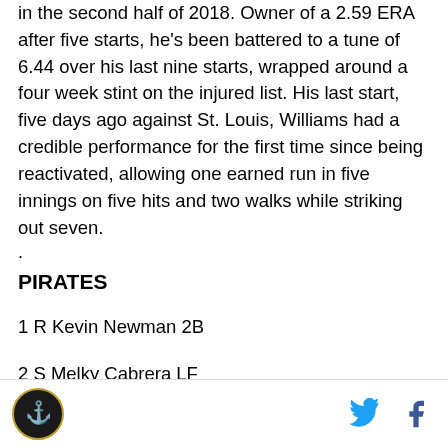in the second half of 2018. Owner of a 2.59 ERA after five starts, he's been battered to a tune of 6.44 over his last nine starts, wrapped around a four week stint on the injured list. His last start, five days ago against St. Louis, Williams had a credible performance for the first time since being reactivated, allowing one earned run in five innings on five hits and two walks while striking out seven.
.
PIRATES
1 R Kevin Newman 2B
2 S Melky Cabrera LF
[Figure (logo): Pittsburgh Pirates circular logo in black and gold]